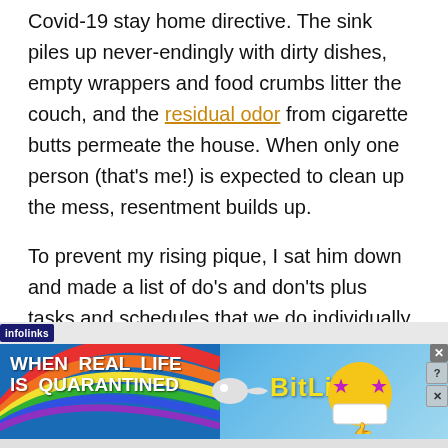Covid-19 stay home directive. The sink piles up never-endingly with dirty dishes, empty wrappers and food crumbs litter the couch, and the residual odor from cigarette butts permeate the house. When only one person (that's me!)  is expected to clean up the mess, resentment builds up.
To prevent my rising pique, I sat him down and made a list of do's and don'ts plus tasks and schedules that we do individually and together. I also remind him of them in case he conveniently forgets. When cooking and doing the laundry are
[Figure (infographic): BitLife advertisement banner with rainbow background and 'WHEN REAL LIFE IS QUARANTINED' text]